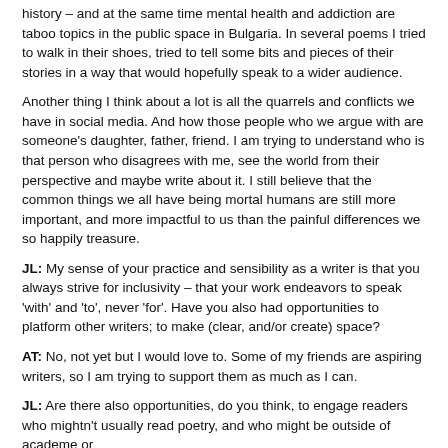history – and at the same time mental health and addiction are taboo topics in the public space in Bulgaria. In several poems I tried to walk in their shoes, tried to tell some bits and pieces of their stories in a way that would hopefully speak to a wider audience.
Another thing I think about a lot is all the quarrels and conflicts we have in social media. And how those people who we argue with are someone's daughter, father, friend. I am trying to understand who is that person who disagrees with me, see the world from their perspective and maybe write about it. I still believe that the common things we all have being mortal humans are still more important, and more impactful to us than the painful differences we so happily treasure.
JL: My sense of your practice and sensibility as a writer is that you always strive for inclusivity – that your work endeavors to speak 'with' and 'to', never 'for'. Have you also had opportunities to platform other writers; to make (clear, and/or create) space?
AT: No, not yet but I would love to. Some of my friends are aspiring writers, so I am trying to support them as much as I can.
JL: Are there also opportunities, do you think, to engage readers who mightn't usually read poetry, and who might be outside of academe or